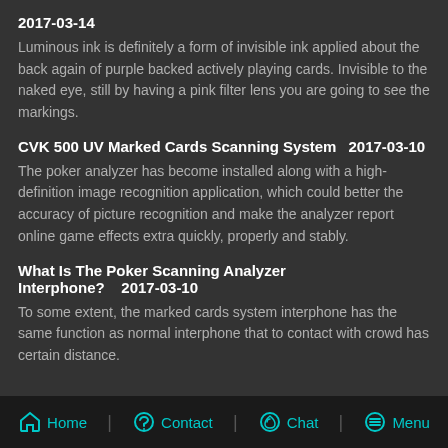2017-03-14
Luminous ink is definitely a form of invisible ink applied about the back again of purple backed actively playing cards. Invisible to the naked eye, still by having a pink filter lens you are going to see the markings.
CVK 500 UV Marked Cards Scanning System    2017-03-10
The poker analyzer has become installed along with a high-definition image recognition application, which could better the accuracy of picture recognition and make the analyzer report online game effects extra quickly, properly and stably.
What Is The Poker Scanning Analyzer Interphone?    2017-03-10
To some extent, the marked cards system interphone has the same function as normal interphone that to contact with crowd has certain distance.
Home | Contact | Chat | Menu